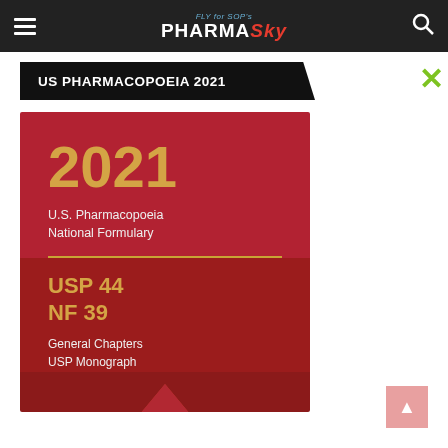PharmaSky - FLY for SOP's
US PHARMACOPOEIA 2021
[Figure (illustration): Book cover for 2021 U.S. Pharmacopoeia National Formulary USP 44 NF 39 General Chapters USP Monograph, with USP logo on dark red background]